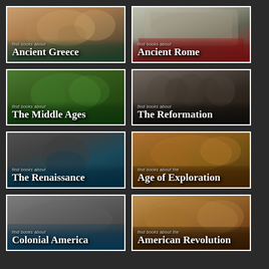[Figure (illustration): Card with historical painting background - find books about Ancient Greece]
[Figure (illustration): Card with Colosseum photo background - find books about Ancient Rome]
[Figure (illustration): Card with medieval painting background - find books about The Middle Ages]
[Figure (illustration): Card with Renaissance portrait group background - find books about The Reformation]
[Figure (illustration): Card with Renaissance man portrait background - find books about The Renaissance]
[Figure (illustration): Card with exploration painting background - find books about the Age of Exploration]
[Figure (illustration): Card with colonial era background - find books about Colonial America]
[Figure (illustration): Card with revolutionary war painting background - find books about the American Revolution]